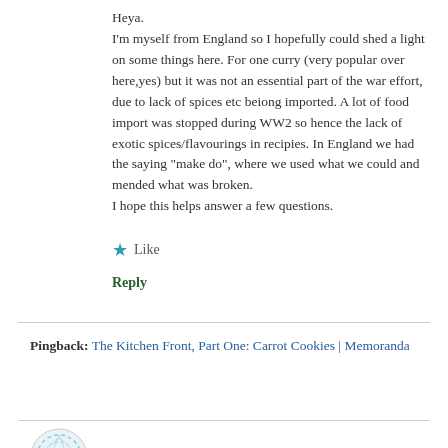Heya.
I'm myself from England so I hopefully could shed a light on some things here. For one curry (very popular over here,yes) but it was not an essential part of the war effort, due to lack of spices etc beiong imported. A lot of food import was stopped during WW2 so hence the lack of exotic spices/flavourings in recipies. In England we had the saying "make do", where we used what we could and mended what was broken.
I hope this helps answer a few questions.
Like
Reply
Pingback: The Kitchen Front, Part One: Carrot Cookies | Memoranda